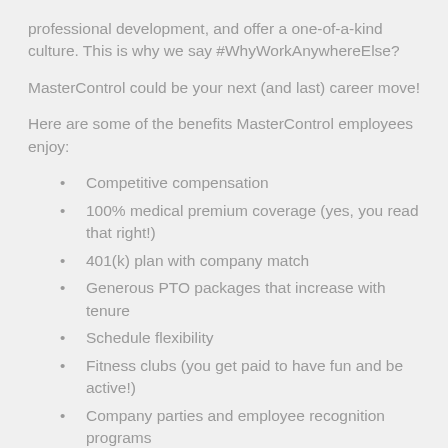professional development, and offer a one-of-a-kind culture. This is why we say #WhyWorkAnywhereElse?
MasterControl could be your next (and last) career move!
Here are some of the benefits MasterControl employees enjoy:
Competitive compensation
100% medical premium coverage (yes, you read that right!)
401(k) plan with company match
Generous PTO packages that increase with tenure
Schedule flexibility
Fitness clubs (you get paid to have fun and be active!)
Company parties and employee recognition programs
Wellness programs (free Fitbit, gym membership and athletic shoe reimbursements, etc.)
Onsite physician and massage therapist